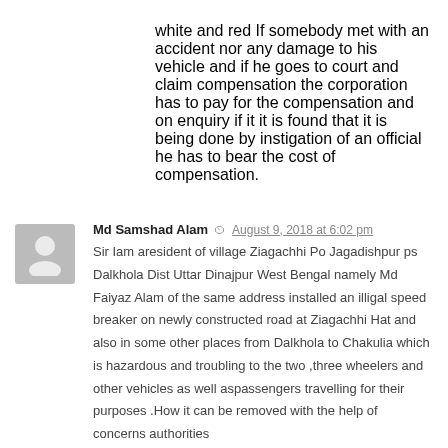white and red If somebody met with an accident nor any damage to his vehicle and if he goes to court and claim compensation the corporation has to pay for the compensation and on enquiry if it it is found that it is being done by instigation of an official he has to bear the cost of compensation.
Md Samshad Alam  August 9, 2018 at 6:02 pm
Sir Iam aresident of village Ziagachhi Po Jagadishpur ps Dalkhola Dist Uttar Dinajpur West Bengal namely Md Faiyaz Alam of the same address installed an illigal speed breaker on newly constructed road at Ziagachhi Hat and also in some other places from Dalkhola to Chakulia which is hazardous and troubling to the two ,three wheelers and other vehicles as well aspassengers travelling for their purposes .How it can be removed with the help of concerns authorities
Janaki ballav Dash  November 2, 2018 at 3:13 pm
Erecting speed humps tumblers at 12 feet after 12 feet is the